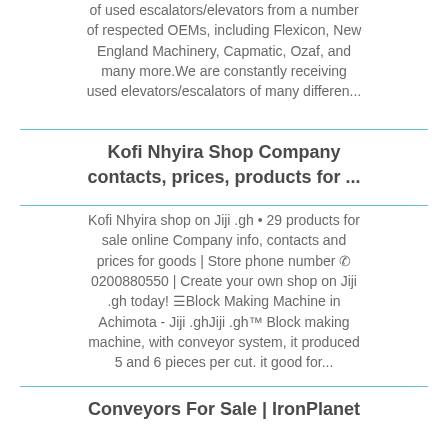of used escalators/elevators from a number of respected OEMs, including Flexicon, New England Machinery, Capmatic, Ozaf, and many more.We are constantly receiving used elevators/escalators of many differen...
Kofi Nhyira Shop Company contacts, prices, products for ...
Kofi Nhyira shop on Jiji .gh • 29 products for sale online Company info, contacts and prices for goods | Store phone number ☎ 0200880550 | Create your own shop on Jiji .gh today! ☰Block Making Machine in Achimota - Jiji .ghJiji .gh™ Block making machine, with conveyor system, it produced 5 and 6 pieces per cut. it good for...
Conveyors For Sale | IronPlanet
Conveyors for Sale Buy and sell unused and used Conveyors at IronPlanet. Conveyors are used to expedite the transportation of...